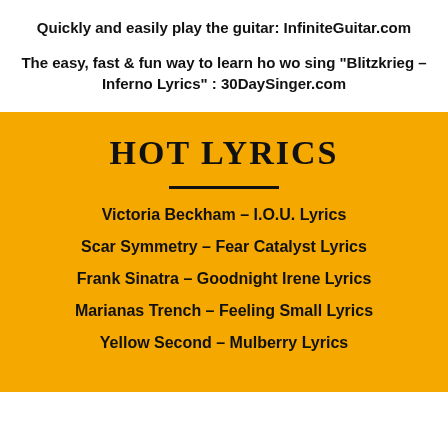Quickly and easily play the guitar: InfiniteGuitar.com
The easy, fast & fun way to learn ho wo sing "Blitzkrieg – Inferno Lyrics" : 30DaySinger.com
HOT LYRICS
Victoria Beckham – I.O.U. Lyrics
Scar Symmetry – Fear Catalyst Lyrics
Frank Sinatra – Goodnight Irene Lyrics
Marianas Trench – Feeling Small Lyrics
Yellow Second – Mulberry Lyrics